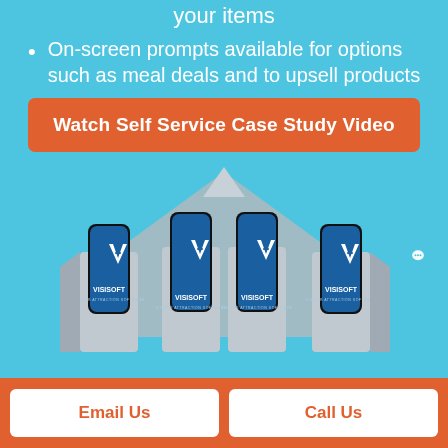your items
On-screen prompts available for options such as meal deals and to upsell products
Watch Self Service Case Study Video
[Figure (illustration): Two self-service kiosk terminals with Visisoft branding displayed on screens, arranged in a house/kiosk shape with a grey upward arrow behind them, on a blue background.]
Email Us
Call Us